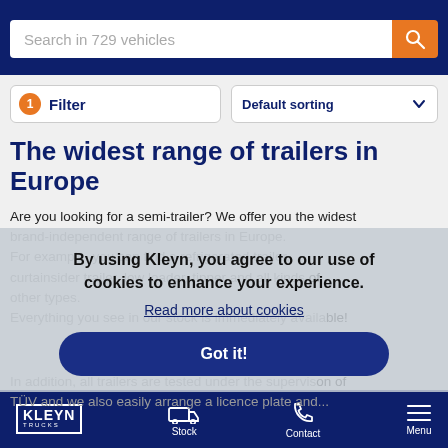[Figure (screenshot): Search bar with placeholder text 'Search in 729 vehicles' and orange search button]
[Figure (screenshot): Filter button with orange badge '1' and 'Default sorting' dropdown]
The widest range of trailers in Europe
Are you looking for a semi-trailer? We offer you the widest brand-independent range of trailers in Europe. For example, you can find a refrigerated trailer, curtainsider trailer, low loader, tipper and all kinds of other types. Everything you see in our stock is immediately available!
In addition, all trailers are tested under the supervision of TÜV and we also easily arrange a licence plate and...
By using Kleyn, you agree to our use of cookies to enhance your experience.
Read more about cookies
Got it!
[Figure (logo): Kleyn Trucks logo with truck and phone icons in bottom navigation bar]